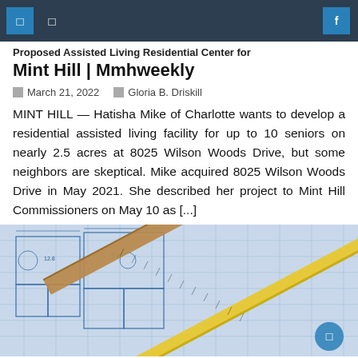Proposed Assisted Living Residential Center for Mint Hill | Mmhweekly
Proposed Assisted Living Residential Center for Mint Hill | Mmhweekly
March 21, 2022   Gloria B. Driskill
MINT HILL — Hatisha Mike of Charlotte wants to develop a residential assisted living facility for up to 10 seniors on nearly 2.5 acres at 8025 Wilson Woods Drive, but some neighbors are skeptical. Mike acquired 8025 Wilson Woods Drive in May 2021. She described her project to Mint Hill Commissioners on May 10 as [...]
[Figure (photo): Blueprint/architectural drawing with a yellow pencil and wooden ruler laid diagonally across it]